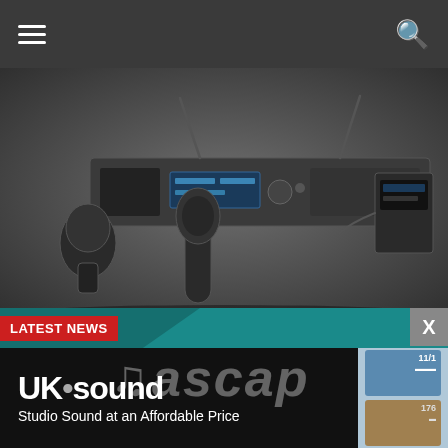Navigation bar with hamburger menu and search icon
[Figure (photo): Audio-Technica wireless microphone system showing a rack-mount receiver unit, handheld microphone, capsule, and bodypack transmitter on a dark gray background]
LATEST NEWS
[Figure (logo): ASCAP logo with musical note on teal background with triangle design element]
[Figure (logo): UK Sound advertisement: 'UK sound — Studio Sound at an Affordable Price' on black background with product images on right side]